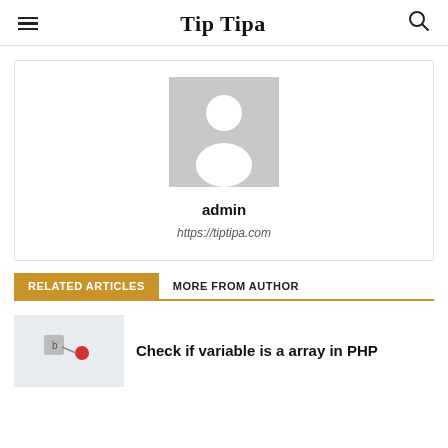Tip Tipa
[Figure (illustration): Default user avatar placeholder - grey square with white silhouette of a person]
admin
https://tiptipa.com
RELATED ARTICLES  MORE FROM AUTHOR
[Figure (screenshot): Thumbnail image for article about checking if variable is an array in PHP]
Check if variable is a array in PHP